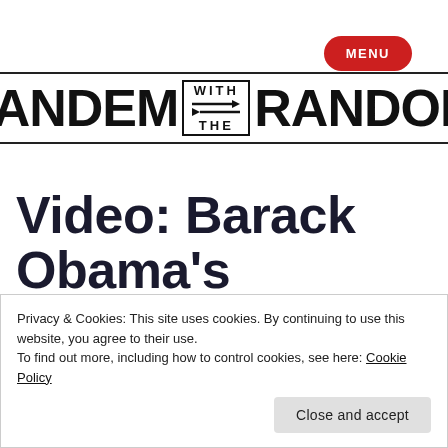MENU
[Figure (logo): TANDEM WITH THE RANDOM logo with arrows in a box between TANDEM and RANDOM text]
Video: Barack Obama’s Election Night Victory
Privacy & Cookies: This site uses cookies. By continuing to use this website, you agree to their use.
To find out more, including how to control cookies, see here: Cookie Policy
Close and accept